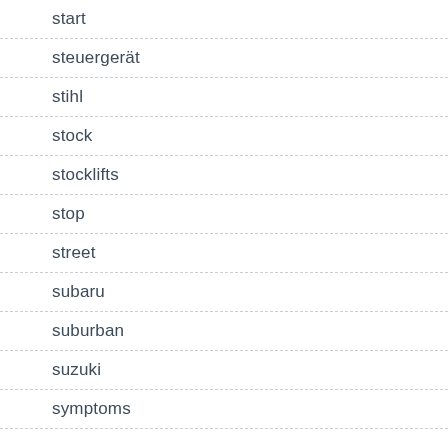start
steuergerät
stihl
stock
stocklifts
stop
street
subaru
suburban
suzuki
symptoms